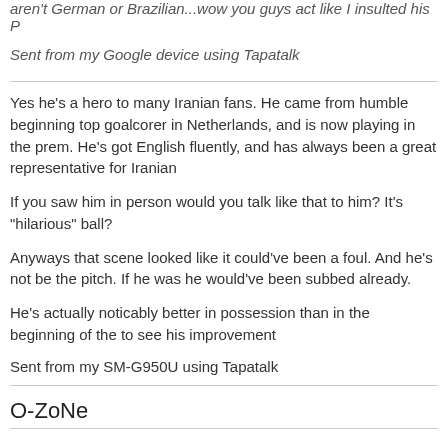aren't German or Brazilian...wow you guys act like I insulted his P
Sent from my Google device using Tapatalk
Yes he's a hero to many Iranian fans. He came from humble beginning top goalcorer in Netherlands, and is now playing in the prem. He's got English fluently, and has always been a great representative for Iranian

If you saw him in person would you talk like that to him? It's "hilarious" ball?

Anyways that scene looked like it could've been a foul. And he's not be the pitch. If he was he would've been subbed already.

He's actually noticably better in possession than in the beginning of the to see his improvement
Sent from my SM-G950U using Tapatalk
O-ZoNe
Finally nice strike by ARJ. Looking more promising
Sent from my SM-T590 using Tapatalk